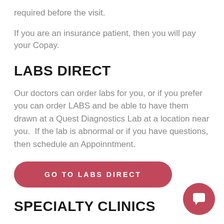required before the visit.
If you are an insurance patient, then you will pay your Copay.
LABS DIRECT
Our doctors can order labs for you, or if you prefer you can order LABS and be able to have them drawn at a Quest Diagnostics Lab at a location near you.  If the lab is abnormal or if you have questions, then schedule an Appoinntment.
[Figure (other): Red rounded-rectangle button with text GO TO LABS DIRECT]
SPECIALTY CLINICS
[Figure (other): Red circular chat bubble icon button in the lower right corner]